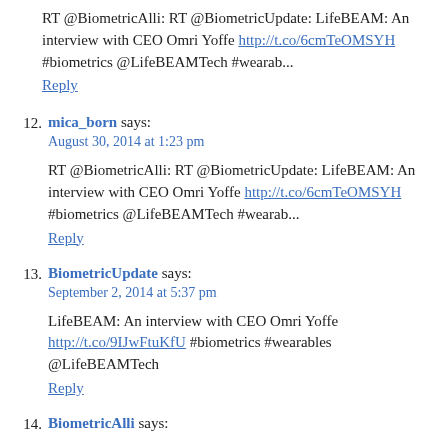RT @BiometricAlli: RT @BiometricUpdate: LifeBEAM: An interview with CEO Omri Yoffe http://t.co/6cmTeOMSYH #biometrics @LifeBEAMTech #wearab...
Reply
12. mica_born says: August 30, 2014 at 1:23 pm
RT @BiometricAlli: RT @BiometricUpdate: LifeBEAM: An interview with CEO Omri Yoffe http://t.co/6cmTeOMSYH #biometrics @LifeBEAMTech #wearab...
Reply
13. BiometricUpdate says: September 2, 2014 at 5:37 pm
LifeBEAM: An interview with CEO Omri Yoffe http://t.co/9IJwFtuKfU #biometrics #wearables @LifeBEAMTech
Reply
14. BiometricAlli says: